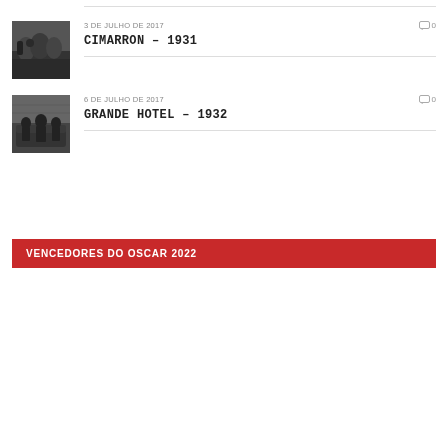[Figure (photo): Black and white movie still from Cimarron 1931 showing horses and figures in a dramatic scene]
3 DE JULHO DE 2017
0
CIMARRON – 1931
[Figure (photo): Black and white movie still from Grande Hotel 1932 showing people seated in a hotel scene]
6 DE JULHO DE 2017
0
GRANDE HOTEL – 1932
VENCEDORES DO OSCAR 2022